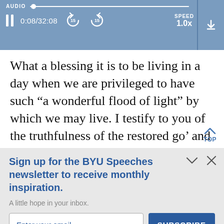[Figure (screenshot): Audio player bar with progress slider, pause button, time display 0:08/32:08, rewind 15s, forward 15s buttons, speed 1.0x, and download button]
What a blessing it is to be living in a day when we are privileged to have such “a wonderful flood of light” by which we may live. I testify to you of the truthfulness of the restored go’ and that we are led by a living prophet of
Sign up for the BYU Speeches newsletter to receive monthly inspiration.
A little hope in your inbox.
Enter your email
SUBSCRIBE